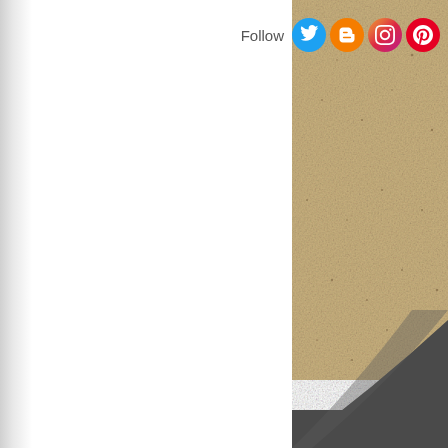[Figure (photo): Partial view of a sand bunker and dark asphalt/pavement area, likely a golf course bunker or outdoor paved area with sandy texture visible on the right side of the page]
Follow